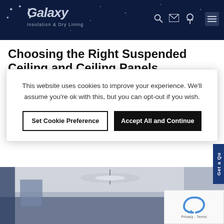[Figure (logo): Galaxy Insulation & Dry Lining logo with stars on dark navy background header, with navigation icons (phone, email, search, menu)]
Choosing the Right Suspended Ceiling and Ceiling Panels
This website uses cookies to improve your experience. We'll assume you're ok with this, but you can opt-out if you wish.
Set Cookie Preference | Accept All and Continue
[Figure (photo): Interior photo of a room with suspended ceiling, fans, and equipment visible against a dark overlay background]
Get a Qu[ote]
[Figure (other): reCAPTCHA widget showing Privacy - Terms text]